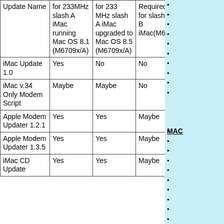| Update Name | for 233MHz slash A iMac running Mac OS 8.1 (M6709x/A) | for 233 MHz slash A iMac upgraded to Mac OS 8.5 (M6709x/A) | Required for slash B iMac(M6709x/B) | Notes |
| --- | --- | --- | --- | --- |
| iMac Update 1.0 | Yes | No | No | 1 |
| iMac v.34 Only Modem Script | Maybe | Maybe | No | 2 |
| Apple Modem Updater 1.2.1 | Yes | Yes | Maybe | 3 |
| Apple Modem Updater 1.3.5 | Yes | Yes | Maybe | 3 |
| iMac CD Updat... | Yes | Yes | Maybe | 4 |